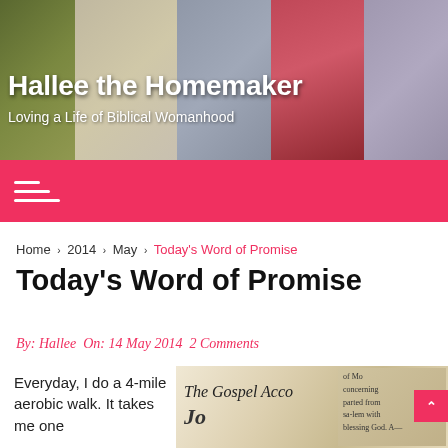[Figure (photo): Website header banner for Hallee the Homemaker blog, showing book covers and vegetables in background mosaic]
Hallee the Homemaker
Loving a Life of Biblical Womanhood
Navigation menu bar with hamburger icon
Home › 2014 › May › Today's Word of Promise
Today's Word of Promise
By: Hallee  On: 14 May 2014  2 Comments
Everyday, I do a 4-mile aerobic walk. It takes me one
[Figure (photo): Open Bible showing text from the Gospel of John]